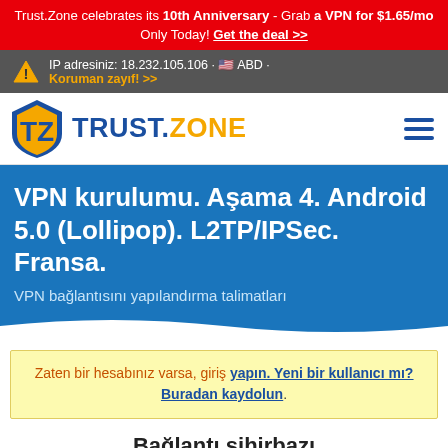Trust.Zone celebrates its 10th Anniversary - Grab a VPN for $1.65/mo Only Today! Get the deal >>
IP adresiniz: 18.232.105.106 · ABD · Koruman zayıf! >>
[Figure (logo): Trust.Zone logo with shield icon and text TRUST.ZONE]
VPN kurulumu. Aşama 4. Android 5.0 (Lollipop). L2TP/IPSec. Fransa.
VPN bağlantısını yapılandırma talimatları
Zaten bir hesabınız varsa, giriş yapın. Yeni bir kullanıcı mı? Buradan kaydolun.
Bağlantı sihirbazı